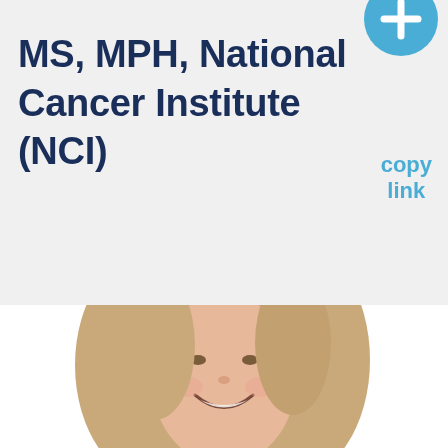MS, MPH, National Cancer Institute (NCI)
[Figure (other): Blue circular badge with a plus/cross icon in the top right corner]
copy link
[Figure (photo): Headshot of a smiling young woman with long blonde/light brown hair against a white background]